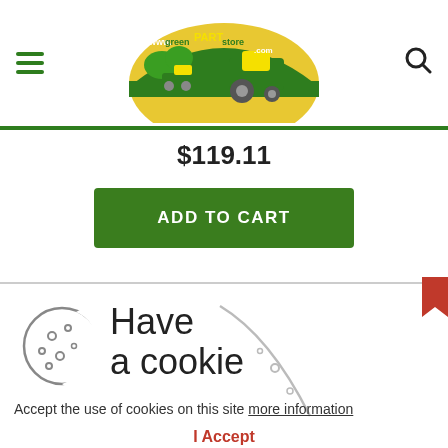www.greenPARTstore.com — header with hamburger menu, logo, search icon
$119.11
ADD TO CART
[Figure (illustration): Cookie consent banner illustration with cookie icon (circle with dots) and decorative arc]
Have a cookie
Accept the use of cookies on this site more information
I Accept